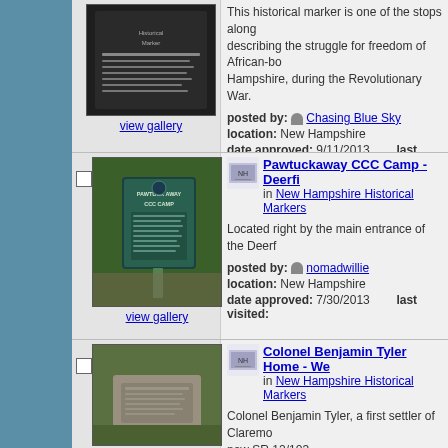[Figure (photo): Historical marker plaque photo (dark background with text)]
view gallery
This historical marker is one of the stops along describing the struggle for freedom of African-bo Hampshire, during the Revolutionary War.
posted by: Chasing Blue Sky
location: New Hampshire
date approved: 9/11/2013    last visited:
[Figure (photo): Pawtuckaway CCC Camp historical marker - green sign with tree background]
view gallery
Pawtuckaway CCC Camp - Deerfield
in New Hampshire Historical Markers
Located right by the main entrance of the Deerf
posted by: nomadwillie
location: New Hampshire
date approved: 7/30/2013    last visited:
[Figure (photo): Colonel Benjamin Tyler Home - stone marker on grass]
Colonel Benjamin Tyler Home - We
in New Hampshire Historical Markers
Colonel Benjamin Tyler, a first settler of Claremo now SR 12/103.